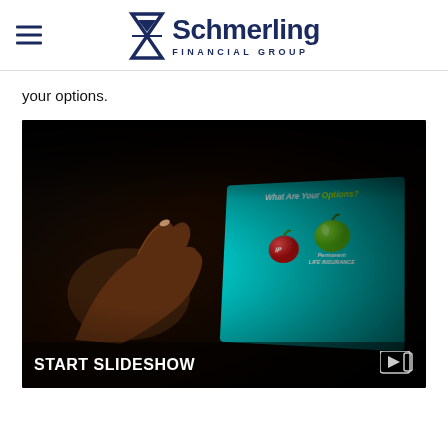Schmerling Financial Group
your options.
[Figure (screenshot): A tablet showing a slideshow about life insurance options with apples imagery. Text reads 'What Are Your Options?' with a red apple and a green apple labeled 'Permanent Life Insurance'. Bottom bar shows 'START SLIDESHOW' with a play icon.]